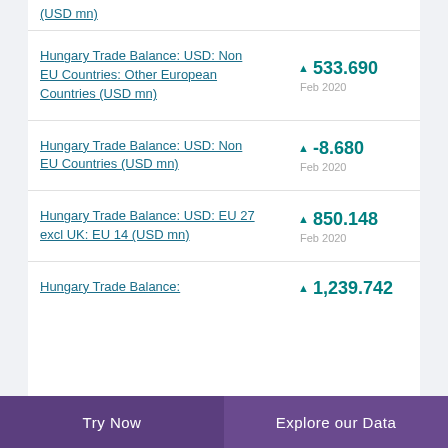(USD mn)
Hungary Trade Balance: USD: Non EU Countries: Other European Countries (USD mn)
Hungary Trade Balance: USD: Non EU Countries (USD mn)
Hungary Trade Balance: USD: EU 27 excl UK: EU 14 (USD mn)
Hungary Trade Balance:
Try Now  |  Explore our Data